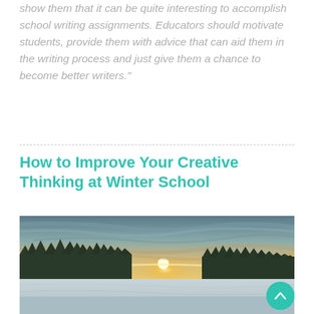show them that it can be quite interesting to accomplish school writing assignments. Educators should motivate students, provide them with advice that can aid them in the writing process and just give them a chance to become better writers."
How to Improve Your Creative Thinking at Winter School
[Figure (photo): Winter landscape photo showing a frozen snow-covered lake or field in the foreground, a line of snow-dusted evergreen trees in the middle ground, and a dramatic sunset sky with streaking clouds above. A teal circular back-to-top button appears in the bottom-right corner.]